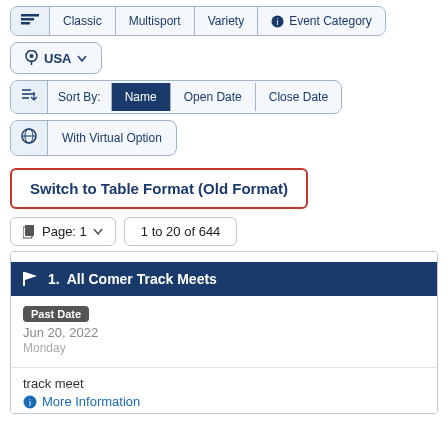[Figure (screenshot): Filter bar with flag icon, Classic, Multisport, Variety, and Event Category (info icon) buttons]
[Figure (screenshot): USA location dropdown button]
[Figure (screenshot): Sort By bar with Name (active/selected), Open Date, Close Date options]
[Figure (screenshot): With Virtual Option filter bar]
Switch to Table Format (Old Format)
[Figure (screenshot): Page: 1 dropdown and 1 to 20 of 644 count]
1. All Comer Track Meets
Past Date
Jun 20, 2022
Monday
track meet
More Information